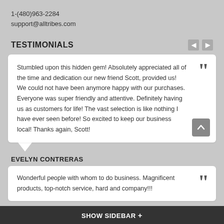1-(480)963-2284
support@alltribes.com
TESTIMONIALS
Stumbled upon this hidden gem! Absolutely appreciated all of the time and dedication our new friend Scott, provided us! We could not have been anymore happy with our purchases. Everyone was super friendly and attentive. Definitely having us as customers for life! The vast selection is like nothing I have ever seen before! So excited to keep our business local! Thanks again, Scott!
EVELYN CONTRERAS
Wonderful people with whom to do business. Magnificent products, top-notch service, hard and company!!!